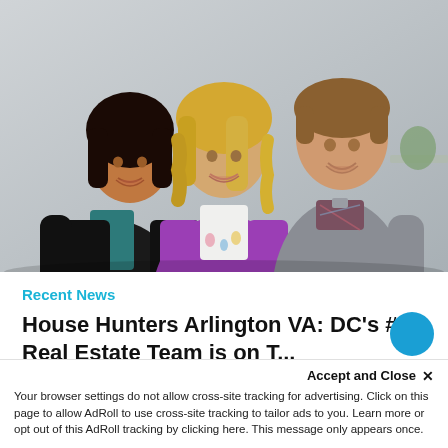[Figure (photo): Three people posing together indoors. On the left, a woman with dark hair wearing a black leather jacket over a teal top. In the center, a blonde woman wearing a purple/magenta jacket over a floral top. On the right, a tall man with short hair wearing a gray quarter-zip pullover. They are smiling, standing against a light gray wall.]
Recent News
House Hunters Arlington VA: DC's #1 Real Estate Team is on T...
Accept and Close ✕
Your browser settings do not allow cross-site tracking for advertising. Click on this page to allow AdRoll to use cross-site tracking to tailor ads to you. Learn more or opt out of this AdRoll tracking by clicking here. This message only appears once.